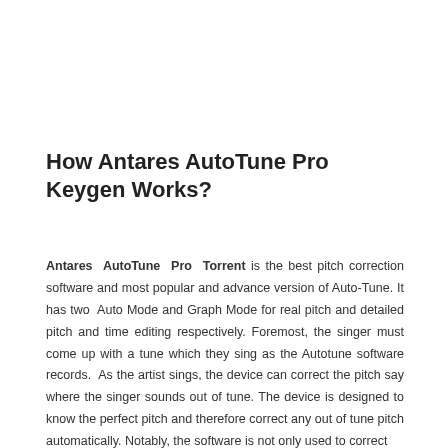How Antares AutoTune Pro Keygen Works?
Antares AutoTune Pro Torrent is the best pitch correction software and most popular and advance version of Auto-Tune. It has two  Auto Mode and Graph Mode for real pitch and detailed pitch and time editing respectively. Foremost, the singer must come up with a tune which they sing as the Autotune software records.  As the artist sings, the device can correct the pitch say where the singer sounds out of tune. The device is designed to know the perfect pitch and therefore correct any out of tune pitch automatically. Notably, the software is not only used to correct